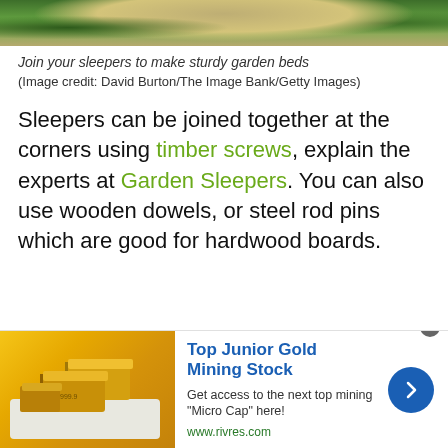[Figure (photo): Top portion of a garden image showing green plants and what appears to be grain/seeds, cropped at the top of the page]
Join your sleepers to make sturdy garden beds
(Image credit: David Burton/The Image Bank/Getty Images)
Sleepers can be joined together at the corners using timber screws, explain the experts at Garden Sleepers. You can also use wooden dowels, or steel rod pins which are good for hardwood boards.
[Figure (infographic): Advertisement for Top Junior Gold Mining Stock. Shows gold bars image on left, text 'Top Junior Gold Mining Stock - Get access to the next top mining "Micro Cap" here! www.rivres.com' with a blue arrow button on right.]